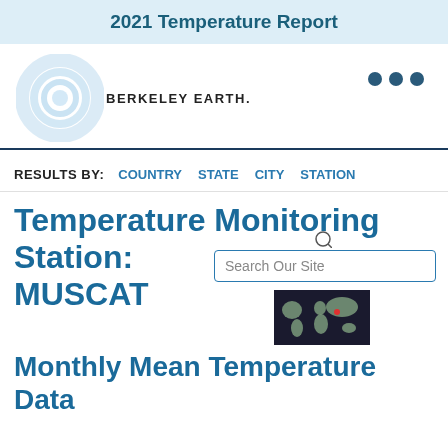2021 Temperature Report
[Figure (logo): Berkeley Earth logo with circular light blue concentric rings and text 'BERKELEY EARTH.']
[Figure (other): Three dark blue dots navigation indicator]
RESULTS BY: COUNTRY STATE CITY STATION
Temperature Monitoring Station: MUSCAT
[Figure (map): Small world map thumbnail with a red dot marker indicating Muscat location]
Monthly Mean Temperature Data